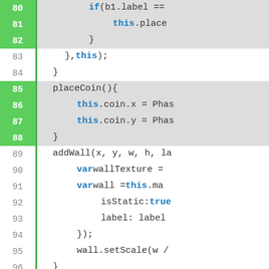[Figure (screenshot): Code editor screenshot showing JavaScript source code lines 80-101 with green highlighted line numbers on lines 80-88, monospace font, syntax highlighting with blue keywords (if, this, var, true), dark text on white/grey background.]